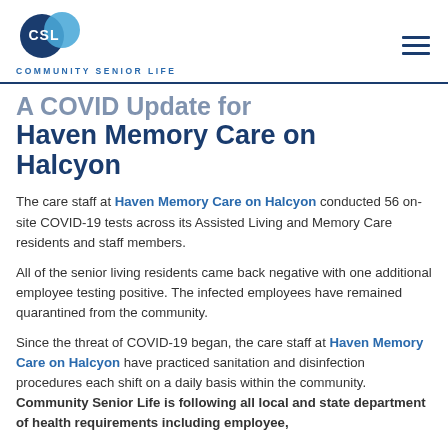CSL COMMUNITY SENIOR LIFE
A COVID Update for Haven Memory Care on Halcyon
The care staff at Haven Memory Care on Halcyon conducted 56 on-site COVID-19 tests across its Assisted Living and Memory Care residents and staff members.
All of the senior living residents came back negative with one additional employee testing positive. The infected employees have remained quarantined from the community.
Since the threat of COVID-19 began, the care staff at Haven Memory Care on Halcyon have practiced sanitation and disinfection procedures each shift on a daily basis within the community. Community Senior Life is following all local and state department of health requirements including employee,